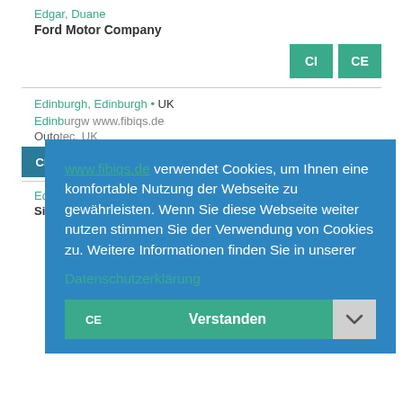Edgar, Duane
Ford Motor Company
CI CE
Edinburgh, UK
Outotec, UK
www.fibiqs.de verwendet Cookies, um Ihnen eine komfortable Nutzung der Webseite zu gewährleisten. Wenn Sie diese Webseite weiter nutzen stimmen Sie der Verwendung von Cookies zu. Weitere Informationen finden Sie in unserer Datenschutzerklärung
Edirisinghe, Ravishanka
Siam City Cement (Lanka) Limited
CE Verstanden